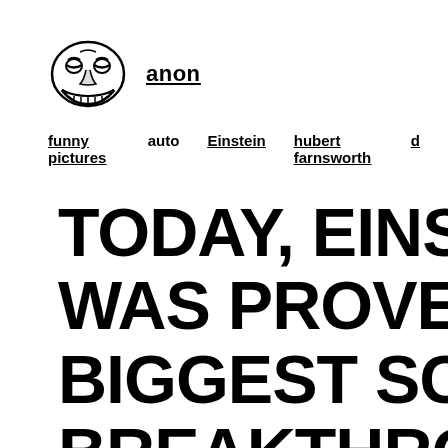[Figure (illustration): Troll face meme icon — black and white cartoon face with wide grin]
anon
funny pictures  auto  Einstein  hubert farnsworth  d…
TODAY, EINSTEIN WAS PROVEN WRONG BIGGEST SCIENTIFIC BREAKTHROUGH YEARS, AND THE …